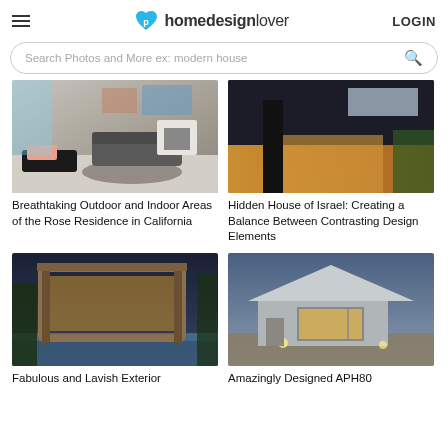homedesignlover LOGIN
Search Photos and More ex: modern house
[Figure (photo): Interior living room of the Rose Residence in California with modern furniture, fireplace, and pool view]
Breathtaking Outdoor and Indoor Areas of the Rose Residence in California
[Figure (photo): Exterior of the Hidden House of Israel with dark facade and warm interior lighting]
Hidden House of Israel: Creating a Balance Between Contrasting Design Elements
[Figure (photo): Fabulous exterior of a modern lavish house at night with pool and frame architecture]
Fabulous and Lavish Exterior
[Figure (photo): APH80 small modern barn-style house at dusk with glowing interior]
Amazingly Designed APH80